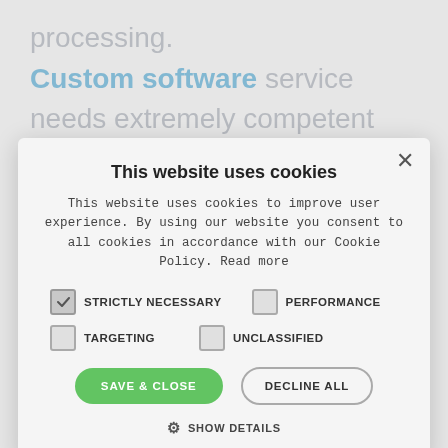processing. Custom software service needs extremely competent professionals able to understand any possible need. Weblink offers you the
This website uses cookies
This website uses cookies to improve user experience. By using our website you consent to all cookies in accordance with our Cookie Policy. Read more
STRICTLY NECESSARY (checked)
PERFORMANCE (unchecked)
TARGETING (unchecked)
UNCLASSIFIED (unchecked)
SAVE & CLOSE
DECLINE ALL
SHOW DETAILS